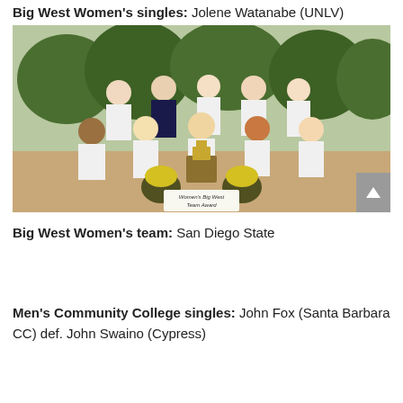Big West Women's singles: Jolene Watanabe (UNLV)
[Figure (photo): Group photo of San Diego State University women's tennis team posing with a trophy and yellow flowers, wearing team shirts and medals, with a sign reading 'Women's Big West Team Award']
Big West Women's team: San Diego State
Men's Community College singles: John Fox (Santa Barbara CC) def. John Swaino (Cypress)